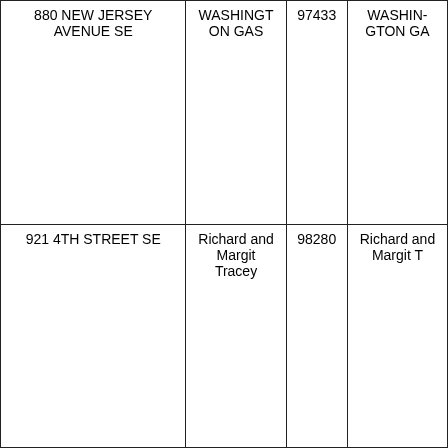| Address | Owner | Account | Owner (cont.) |
| --- | --- | --- | --- |
| 880 NEW JERSEY AVENUE SE | WASHINGTON GAS | 97433 | WASHINGTON GAS |
| 921 4TH STREET SE | Richard and Margit Tracey | 98280 | Richard and Margit T |